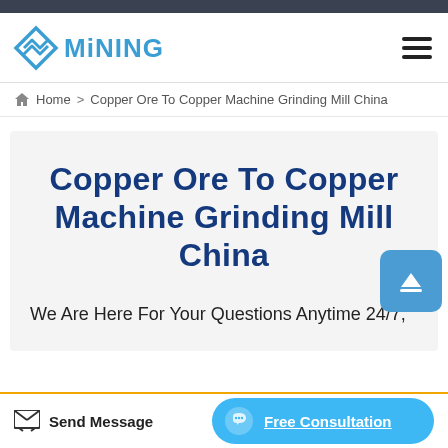[Figure (logo): Mining company logo with blue diamond/chevron icon and 'MiNING' text in blue]
Home > Copper Ore To Copper Machine Grinding Mill China
Copper Ore To Copper Machine Grinding Mill China
We Are Here For Your Questions Anytime 24/7,